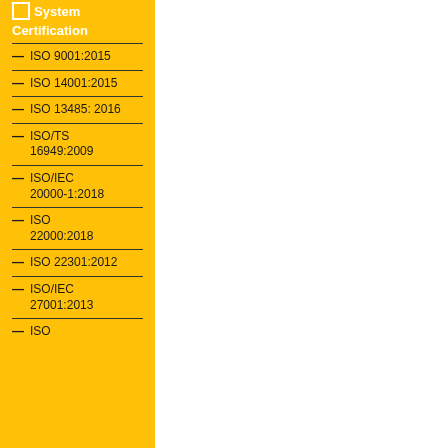System Certification
ISO 9001:2015
ISO 14001:2015
ISO 13485: 2016
ISO/TS 16949:2009
ISO/IEC 20000-1:2018
ISO 22000:2018
ISO 22301:2012
ISO/IEC 27001:2013
ISO